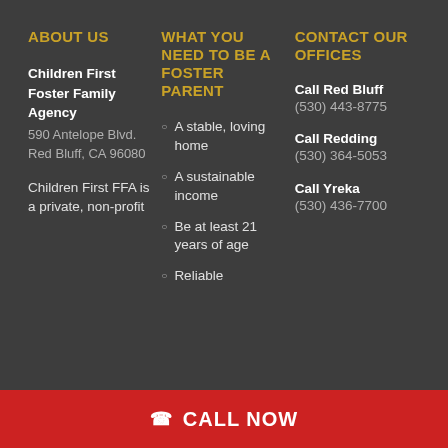ABOUT US
Children First Foster Family Agency
590 Antelope Blvd.
Red Bluff, CA 96080

Children First FFA is a private, non-profit
WHAT YOU NEED TO BE A FOSTER PARENT
A stable, loving home
A sustainable income
Be at least 21 years of age
Reliable
CONTACT OUR OFFICES
Call Red Bluff
(530) 443-8775
Call Redding
(530) 364-5053
Call Yreka
(530) 436-7700
CALL NOW